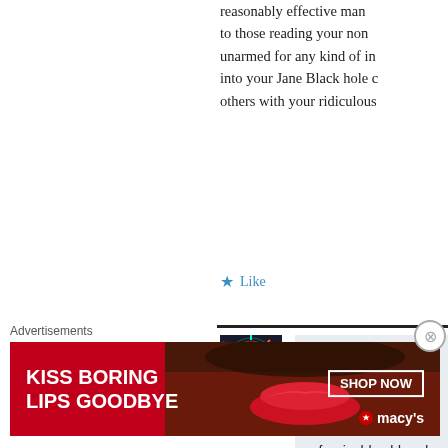reasonably effective man... to those reading your non... unarmed for any kind of in... into your Jane Black hole ... others with your ridiculous...
Like
David Blaska says:
August 22, 2018 at 2:50 pm
Watch her video. It reco... unforgivably old and wh... trying to record testimo... meeting.
Advertisements
[Figure (photo): Macy's advertisement banner: 'KISS BORING LIPS GOODBYE' with red lipstick image and 'SHOP NOW' button with Macy's star logo]